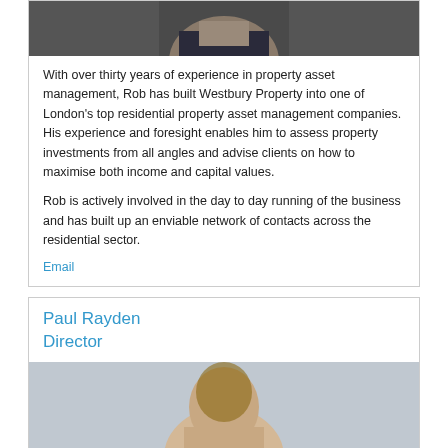[Figure (photo): Portrait photo of a man in a dark suit with blue tie, partially cropped at top]
With over thirty years of experience in property asset management, Rob has built Westbury Property into one of London's top residential property asset management companies. His experience and foresight enables him to assess property investments from all angles and advise clients on how to maximise both income and capital values.
Rob is actively involved in the day to day running of the business and has built up an enviable network of contacts across the residential sector.
Email
Paul Rayden
Director
[Figure (photo): Portrait photo of Paul Rayden, partially visible, cropped at bottom]